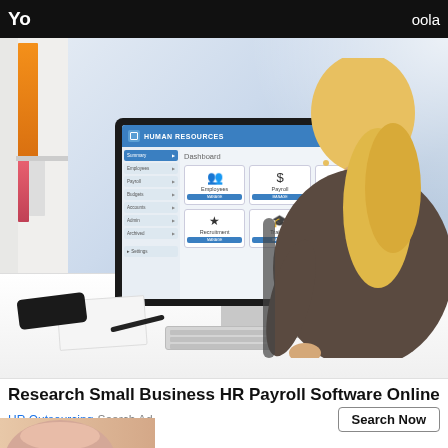Yo  oola
[Figure (photo): Woman with blonde hair sitting at a desk viewing a Human Resources dashboard software on a large monitor. The HR software shows a dashboard with icons for Employees, Payroll, Accounts, Recruitment, Training, and Performance. Office bookshelves visible on the left with orange, teal, and pink binders.]
Research Small Business HR Payroll Software Online
HR Outsourcing   Search Ad
Search Now